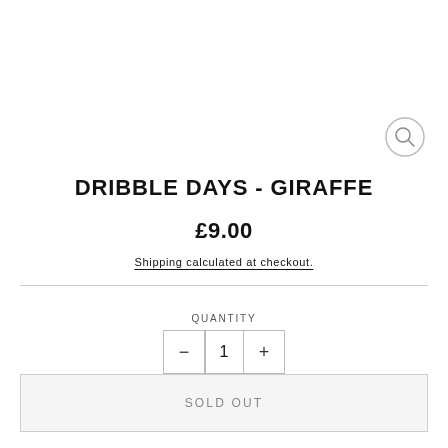[Figure (other): Search icon — circle with magnifying glass handle, top right corner]
DRIBBLE DAYS - GIRAFFE
£9.00
Shipping calculated at checkout.
QUANTITY
1
SOLD OUT